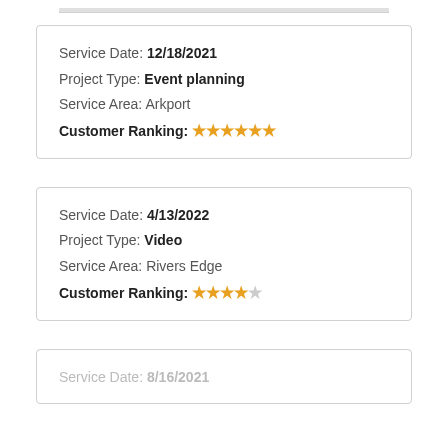Service Date: 12/18/2021
Project Type: Event planning
Service Area: Arkport
Customer Ranking: ★★★★★☆
Service Date: 4/13/2022
Project Type: Video
Service Area: Rivers Edge
Customer Ranking: ★★★★☆
Service Date: 8/16/2021